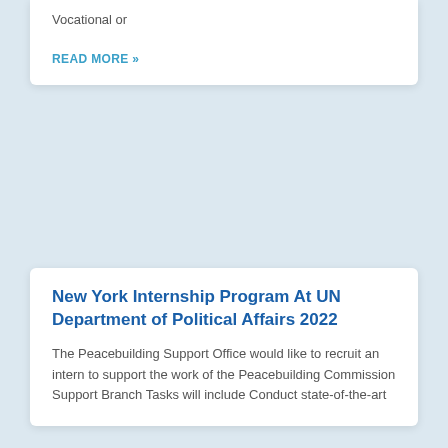Vocational or
READ MORE »
New York Internship Program At UN Department of Political Affairs 2022
The Peacebuilding Support Office would like to recruit an intern to support the work of the Peacebuilding Commission Support Branch Tasks will include Conduct state-of-the-art